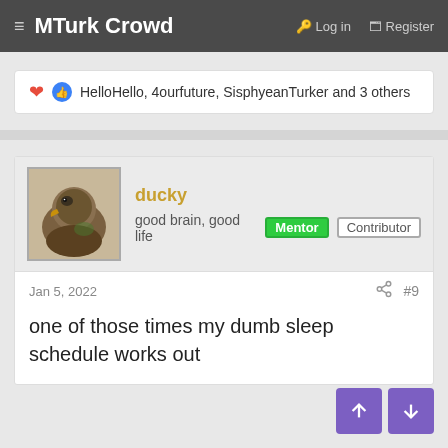≡ MTurk Crowd  🔑 Log in  🗔 Register
❤ 👍 HelloHello, 4ourfuture, SisphyeanTurker and 3 others
ducky
good brain, good life  Mentor  Contributor
Jan 5, 2022  #9
one of those times my dumb sleep schedule works out